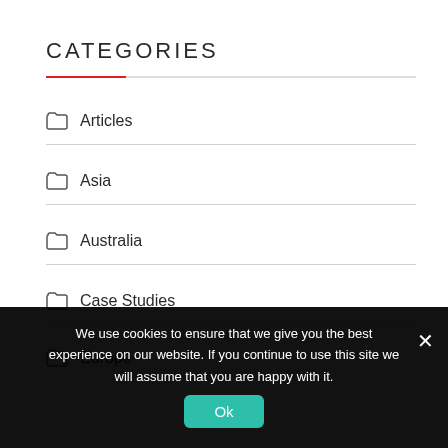CATEGORIES
Articles
Asia
Australia
Case Studies
Europe
We use cookies to ensure that we give you the best experience on our website. If you continue to use this site we will assume that you are happy with it.